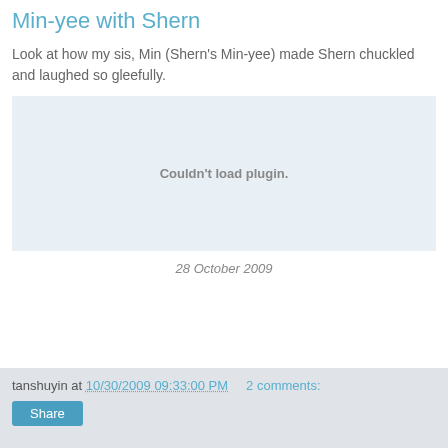Min-yee with Shern
Look at how my sis, Min (Shern's Min-yee) made Shern chuckled and laughed so gleefully.
[Figure (other): Embedded media plugin area showing 'Couldn't load plugin.' error message]
28 October 2009
tanshuyin at 10/30/2009 09:33:00 PM    2 comments: